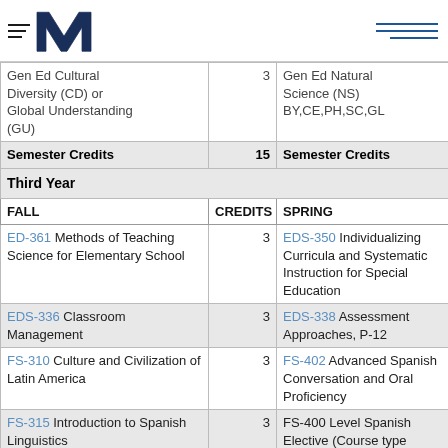Millersville University logo and navigation
| FALL | CREDITS | SPRING | CREDITS |
| --- | --- | --- | --- |
| Gen Ed Cultural Diversity (CD) or Global Understanding (GU) | 3 | Gen Ed Natural Science (NS) BY,CE,PH,SC,GL | 3 |
| Semester Credits | 15 | Semester Credits | 15 |
| Third Year |  |  |  |
| FALL | CREDITS | SPRING | CREDITS |
| ED-361 Methods of Teaching Science for Elementary School | 3 | EDS-350 Individualizing Curricula and Systematic Instruction for Special Education | 3 |
| EDS-336 Classroom Management | 3 | EDS-338 Assessment Approaches, P-12 | 3 |
| FS-310 Culture and Civilization of Latin America | 3 | FS-402 Advanced Spanish Conversation and Oral Proficiency | 3 |
| FS-315 Introduction to Spanish Linguistics | 3 | FS-400 Level Spanish Elective (Course type | 3 |